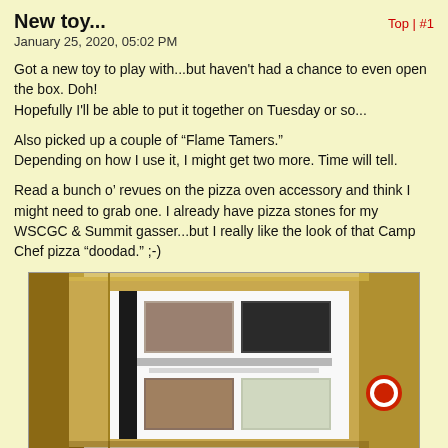New toy...
January 25, 2020, 05:02 PM
Got a new toy to play with...but haven't had a chance to even open the box. Doh!
Hopefully I'll be able to put it together on Tuesday or so...
Also picked up a couple of “Flame Tamers.”
Depending on how I use it, I might get two more. Time will tell.
Read a bunch o’ revues on the pizza oven accessory and think I might need to grab one. I already have pizza stones for my WSCGC & Summit gasser...but I really like the look of that Camp Chef pizza “doodad.” ;-)
[Figure (photo): A large cardboard box leaning against a wall, showing the product packaging with images of outdoor cooking equipment/grills on the front label.]